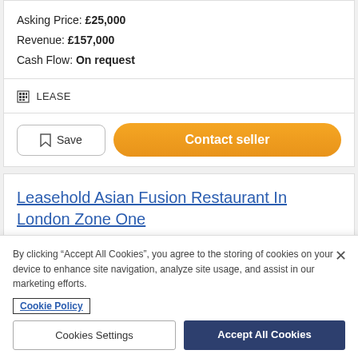Asking Price: £25,000
Revenue: £157,000
Cash Flow: On request
LEASE
Save
Contact seller
Leasehold Asian Fusion Restaurant In London Zone One
By clicking "Accept All Cookies", you agree to the storing of cookies on your device to enhance site navigation, analyze site usage, and assist in our marketing efforts.
Cookie Policy
Cookies Settings
Accept All Cookies